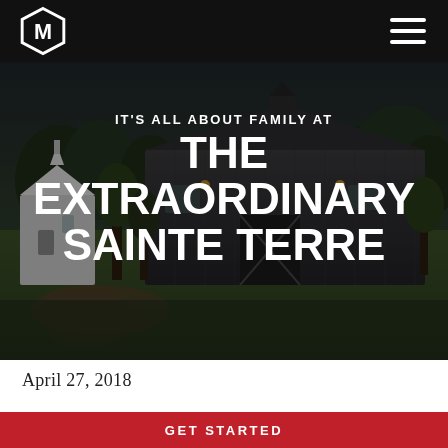[Figure (photo): Hero image of a farm property with a large dark metal barn and white chapel/outbuilding, surrounded by trees and green lawn, at dusk. Overlaid with large white bold text on dark background.]
IT'S ALL ABOUT FAMILY AT THE EXTRAORDINARY SAINTE TERRE
April 27, 2018
GET STARTED